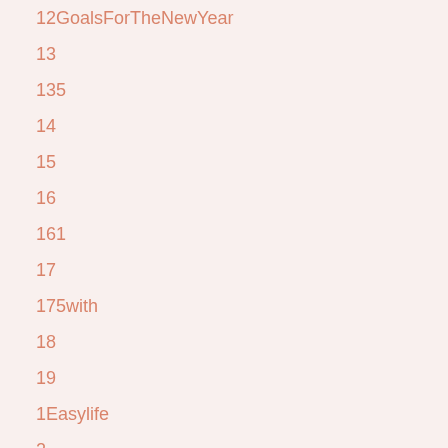12GoalsForTheNewYear
13
135
14
15
16
161
17
175with
18
19
1Easylife
2
20
2003LDF